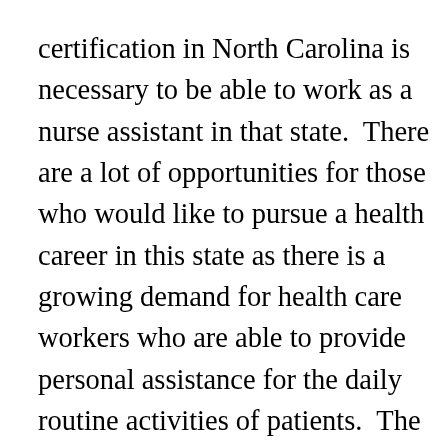certification in North Carolina is necessary to be able to work as a nurse assistant in that state.  There are a lot of opportunities for those who would like to pursue a health career in this state as there is a growing demand for health care workers who are able to provide personal assistance for the daily routine activities of patients.  The number of older people has definitely increased through the years and has resulted in  a larger demand for nursing assistants across the United States. For this reason getting your certificate is an excellent way to start out in the health care field while gaining the